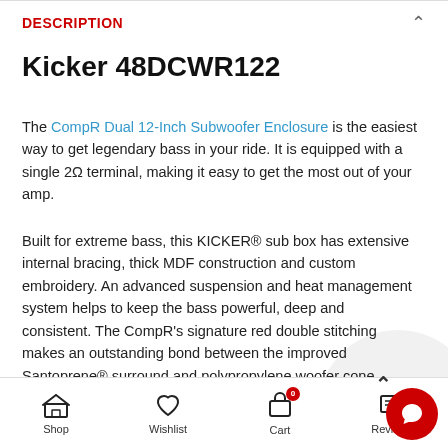DESCRIPTION
Kicker 48DCWR122
The CompR Dual 12-Inch Subwoofer Enclosure is the easiest way to get legendary bass in your ride. It is equipped with a single 2Ω terminal, making it easy to get the most out of your amp.
Built for extreme bass, this KICKER® sub box has extensive internal bracing, thick MDF construction and custom embroidery. An advanced suspension and heat management system helps to keep the bass powerful, deep and consistent. The CompR's signature red double stitching makes an outstanding bond between the improved Santoprene® surround and polypropylene woofer cone. Revolutionary SoloKon™ technology joins the co the vented back brace, creating a single integrated unit that b
Shop  Wishlist  Cart  Reviews